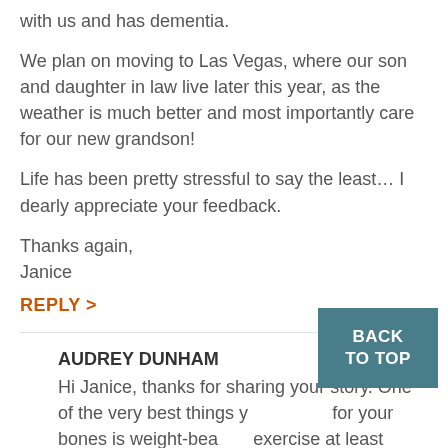with us and has dementia.
We plan on moving to Las Vegas, where our son and daughter in law live later this year, as the weather is much better and most importantly care for our new grandson!
Life has been pretty stressful to say the least… I dearly appreciate your feedback.
Thanks again,
Janice
REPLY >
AUDREY DUNHAM
Hi Janice, thanks for sharing your story. One of the very best things y for your bones is weight-bear exercise at least three days a week. This includes weight lifting (even lighter weights will help), walking, dancing,
BACK TO TOP